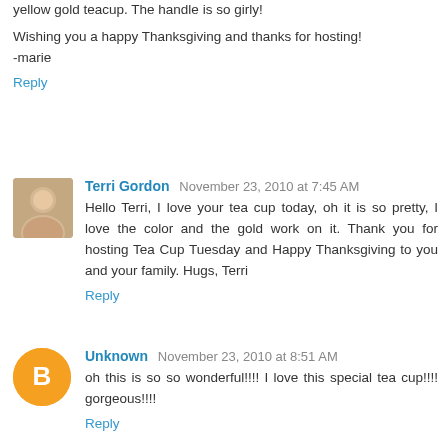yellow gold teacup. The handle is so girly!
Wishing you a happy Thanksgiving and thanks for hosting!
-marie
Reply
Terri Gordon  November 23, 2010 at 7:45 AM
Hello Terri, I love your tea cup today, oh it is so pretty, I love the color and the gold work on it. Thank you for hosting Tea Cup Tuesday and Happy Thanksgiving to you and your family. Hugs, Terri
Reply
Unknown  November 23, 2010 at 8:51 AM
oh this is so so wonderful!!!! I love this special tea cup!!!! gorgeous!!!!
Reply